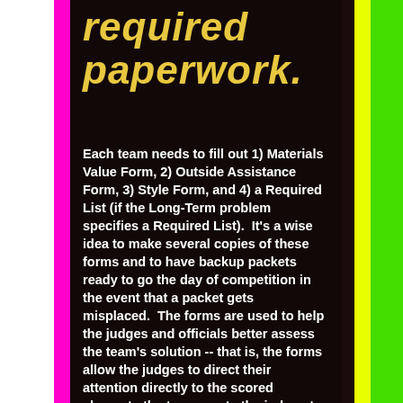required paperwork.
Each team needs to fill out 1) Materials Value Form, 2) Outside Assistance Form, 3) Style Form, and 4) a Required List (if the Long-Term problem specifies a Required List).  It's a wise idea to make several copies of these forms and to have backup packets ready to go the day of competition in the event that a packet gets misplaced.  The forms are used to help the judges and officials better assess the team's solution -- that is, the forms allow the judges to direct their attention directly to the scored elements the team wants the judges to focus on.  As such, it's a good idea for teams to fill out their forms carefully, making sure they are clear, concise, and complete!  For questions regarding forms, particularly assessing costs on the Materials Value Form, please refer to the official